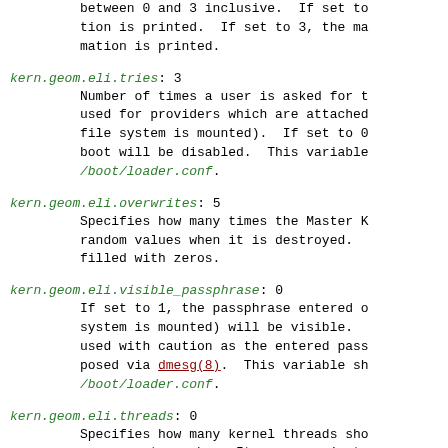between 0 and 3 inclusive.  If set to tion is printed.  If set to 3, the ma mation is printed.
kern.geom.eli.tries: 3 — Number of times a user is asked for t used for providers which are attached file system is mounted).  If set to 0 boot will be disabled.  This variable /boot/loader.conf.
kern.geom.eli.overwrites: 5 — Specifies how many times the Master K random values when it is destroyed. filled with zeros.
kern.geom.eli.visible_passphrase: 0 — If set to 1, the passphrase entered o system is mounted) will be visible. used with caution as the entered pass posed via dmesg(8).  This variable sh /boot/loader.conf.
kern.geom.eli.threads: 0 — Specifies how many kernel threads sho ware cryptography.  Its purpose is to systems.  If set to 0, a CPU-pinned t every active CPU.